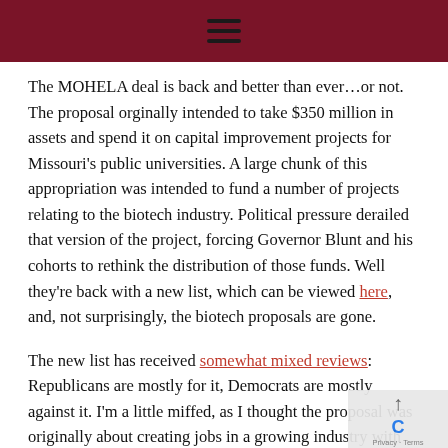☰
The MOHELA deal is back and better than ever…or not. The proposal orginally intended to take $350 million in assets and spend it on capital improvement projects for Missouri's public universities. A large chunk of this appropriation was intended to fund a number of projects relating to the biotech industry. Political pressure derailed that version of the project, forcing Governor Blunt and his cohorts to rethink the distribution of those funds. Well they're back with a new list, which can be viewed here, and, not surprisingly, the biotech proposals are gone.
The new list has received somewhat mixed reviews: Republicans are mostly for it, Democrats are mostly against it. I'm a little miffed, as I thought the proposal was originally about creating jobs in a growing industry with great promise. Now, however, that part of the bill has